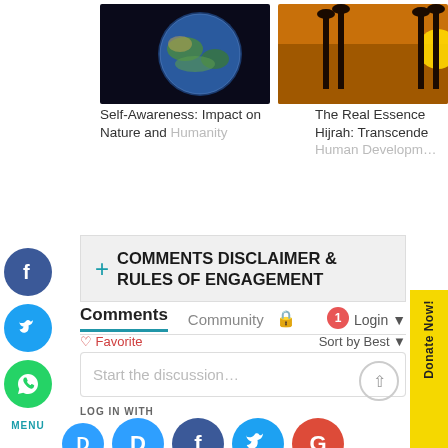[Figure (photo): Two images side by side: left shows Earth from space against dark background; right shows mosque minarets silhouetted against orange sunset sky]
Self-Awareness: Impact on Nature and Humanity
The Real Essence Hijrah: Transcende Human Developm…
[Figure (screenshot): Website comment section with social share buttons (Facebook, Twitter, WhatsApp), Comments Disclaimer & Rules of Engagement collapsible, Disqus comment widget with Comments/Community tabs, Favorite, Sort by Best, Start the discussion input box, LOG IN WITH social login buttons (Disqus, Facebook, Twitter, Google), and a yellow Donate Now! sidebar]
COMMENTS DISCLAIMER & RULES OF ENGAGEMENT
Comments  Community  Login
Favorite  Sort by Best
Start the discussion…
LOG IN WITH